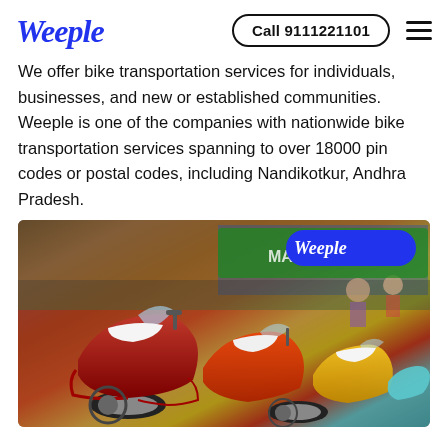Weeple   Call 9111221101
We offer bike transportation services for individuals, businesses, and new or established communities. Weeple is one of the companies with nationwide bike transportation services spanning to over 18000 pin codes or postal codes, including Nandikotkur, Andhra Pradesh.
[Figure (photo): Photo of colorful vintage scooters/mopeds lined up together with a Weeple watermark logo in the top right corner. Scooters are red, orange, yellow, and teal colored.]